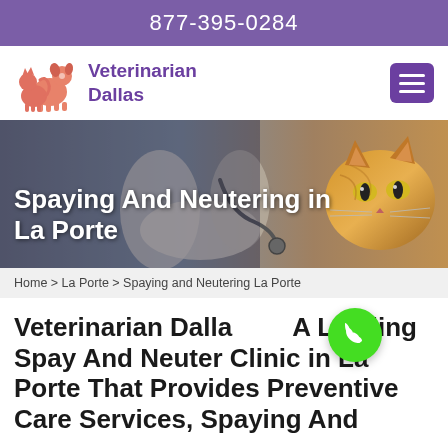877-395-0284
[Figure (logo): Veterinarian Dallas logo with stylized dog and cat silhouettes in orange/pink, with purple text reading Veterinarian Dallas]
Spaying And Neutering in La Porte
Home > La Porte > Spaying and Neutering La Porte
Veterinarian Dallas A Leading Spay And Neuter Clinic in La Porte That Provides Preventive Care Services, Spaying And